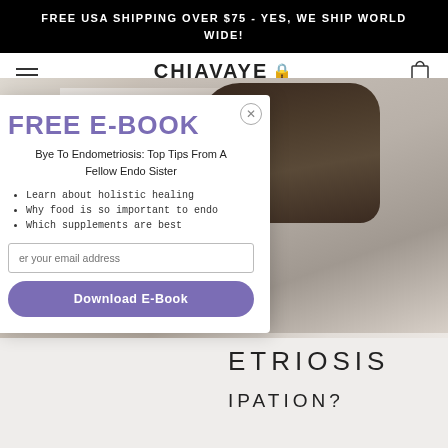FREE USA SHIPPING OVER $75 - YES, WE SHIP WORLD WIDE!
CHIAVAYE 🔒
[Figure (photo): Woman with dark hair in a ponytail bending over a white surface, wearing a patterned light-colored top, background is light beige/white]
FREE E-BOOK
Bye To Endometriosis: Top Tips From A Fellow Endo Sister
Learn about holistic healing
Why food is so important to endo
Which supplements are best
Enter your email address
Download E-Book
ETRIOSIS
IPATION?